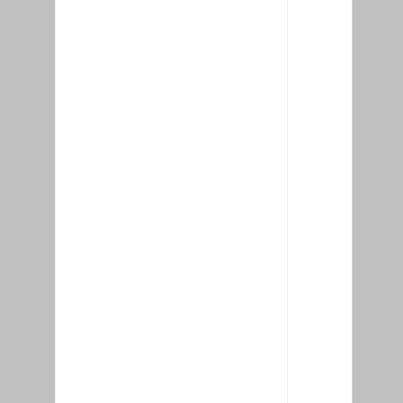201 at 9:4 pm
MR. TAYLOR I HAVE NO IDEA WHERE YOU GOT YOUR IDEAS ABOUT HOW A PERSO PREFE WHEN THEY TYPE. FOR ME I WAS TAUGHT TO TYPE